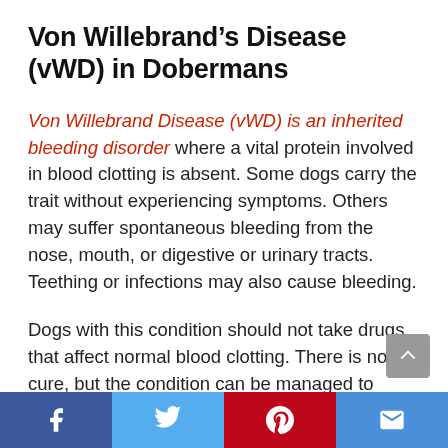Von Willebrand’s Disease (vWD) in Dobermans
Von Willebrand Disease (vWD) is an inherited bleeding disorder where a vital protein involved in blood clotting is absent. Some dogs carry the trait without experiencing symptoms. Others may suffer spontaneous bleeding from the nose, mouth, or digestive or urinary tracts. Teething or infections may also cause bleeding.
Dogs with this condition should not take drugs that affect normal blood clotting. There is no cure, but the condition can be managed to reduce the